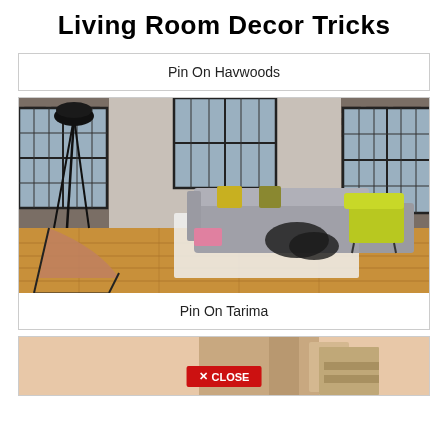Living Room Decor Tricks
Pin On Havwoods
[Figure (photo): Modern industrial living room with wood flooring, grey sectional sofa with yellow/green cushions, yellow-green armchair, black coffee tables, industrial floor lamp, large windows with brick walls]
Pin On Tarima
[Figure (photo): Partial view of a room with warm peach/beige tones, partially visible, with a red CLOSE button overlay at the bottom]